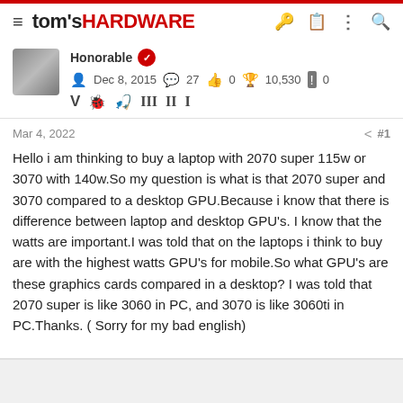tom's HARDWARE
Honorable   Dec 8, 2015   27   0   10,530   0
Mar 4, 2022   #1
Hello i am thinking to buy a laptop with 2070 super 115w or 3070 with 140w.So my question is what is that 2070 super and 3070 compared to a desktop GPU.Because i know that there is difference between laptop and desktop GPU's. I know that the watts are important.I was told that on the laptops i think to buy are with the highest watts GPU's for mobile.So what GPU's are these graphics cards compared in a desktop? I was told that 2070 super is like 3060 in PC, and 3070 is like 3060ti in PC.Thanks. ( Sorry for my bad english)